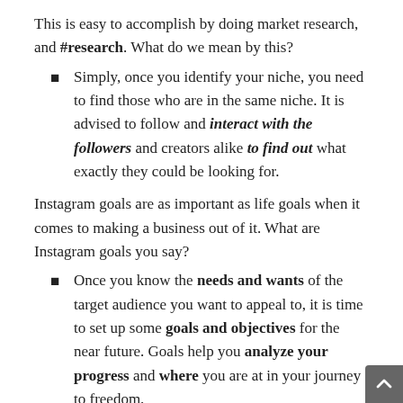This is easy to accomplish by doing market research, and #research. What do we mean by this?
Simply, once you identify your niche, you need to find those who are in the same niche. It is advised to follow and interact with the followers and creators alike to find out what exactly they could be looking for.
Instagram goals are as important as life goals when it comes to making a business out of it. What are Instagram goals you say?
Once you know the needs and wants of the target audience you want to appeal to, it is time to set up some goals and objectives for the near future. Goals help you analyze your progress and where you are at in your journey to freedom.
The best way to set Instagram goals, in fact, any type of goals, is the SMART method. If you have not heard about the smart way setting goals, here it is: